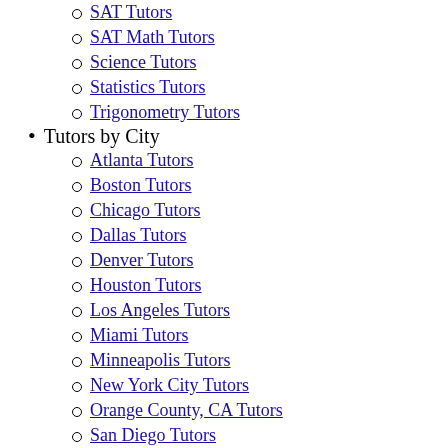SAT Tutors
SAT Math Tutors
Science Tutors
Statistics Tutors
Trigonometry Tutors
Tutors by City
Atlanta Tutors
Boston Tutors
Chicago Tutors
Dallas Tutors
Denver Tutors
Houston Tutors
Los Angeles Tutors
Miami Tutors
Minneapolis Tutors
New York City Tutors
Orange County, CA Tutors
San Diego Tutors
San Francisco Tutors
Seattle Tutors
Washington, DC Tutors
Find a Horton, TX Geometry Tutors